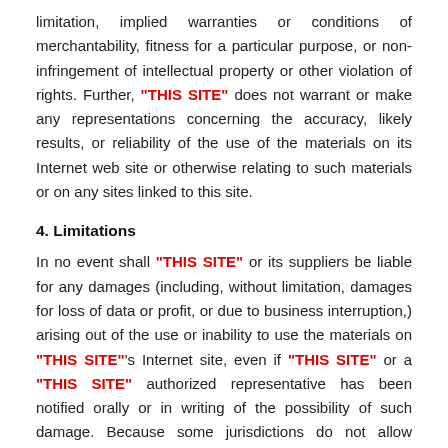limitation, implied warranties or conditions of merchantability, fitness for a particular purpose, or non-infringement of intellectual property or other violation of rights. Further, "THIS SITE" does not warrant or make any representations concerning the accuracy, likely results, or reliability of the use of the materials on its Internet web site or otherwise relating to such materials or on any sites linked to this site.
4. Limitations
In no event shall "THIS SITE" or its suppliers be liable for any damages (including, without limitation, damages for loss of data or profit, or due to business interruption,) arising out of the use or inability to use the materials on "THIS SITE"'s Internet site, even if "THIS SITE" or a "THIS SITE" authorized representative has been notified orally or in writing of the possibility of such damage. Because some jurisdictions do not allow limitations on implied warranties, or limitations of liability for consequential or incidental